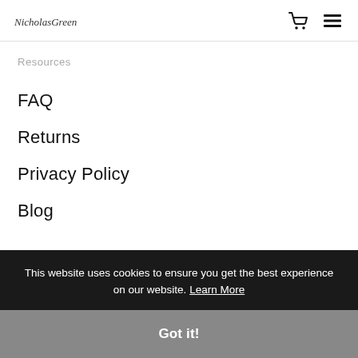NicholasGreen [logo] [cart icon] [menu icon]
Resources
FAQ
Returns
Privacy Policy
Blog
[Figure (illustration): Chat bubble icon with three dots indicating a messaging widget]
This website uses cookies to ensure you get the best experience on our website. Learn More
Got it!